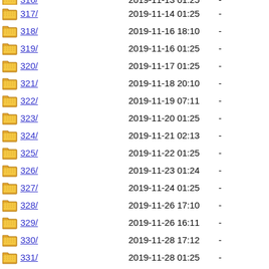316/ 2019-11-13 01:25 -
317/ 2019-11-14 01:25 -
318/ 2019-11-16 18:10 -
319/ 2019-11-16 01:25 -
320/ 2019-11-17 01:25 -
321/ 2019-11-18 20:10 -
322/ 2019-11-19 07:11 -
323/ 2019-11-20 01:25 -
324/ 2019-11-21 02:13 -
325/ 2019-11-22 01:25 -
326/ 2019-11-23 01:24 -
327/ 2019-11-24 01:25 -
328/ 2019-11-26 17:10 -
329/ 2019-11-26 16:11 -
330/ 2019-11-28 17:12 -
331/ 2019-11-28 01:25 -
332/ 2019-11-29 01:24 -
333/ 2019-11-30 01:24 -